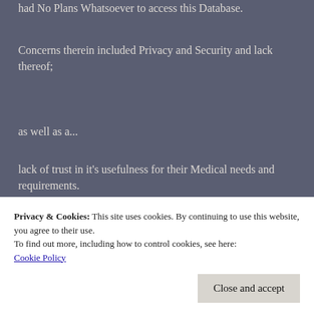had No Plans Whatsoever to access this Database.
Concerns therein included Privacy and Security and lack thereof;
as well as a...
lack of trust in it's usefulness for their Medical needs and requirements.
Accuracy and Up-to-Date Data validity...
Privacy & Cookies: This site uses cookies. By continuing to use this website, you agree to their use.
To find out more, including how to control cookies, see here: Cookie Policy
Close and accept
A leading News Corp Investigation has further